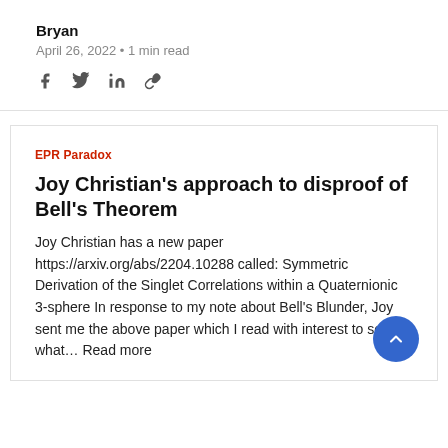Bryan
April 26, 2022 • 1 min read
[Figure (illustration): Social share icons: Facebook, Twitter, LinkedIn, link/chain icon]
EPR Paradox
Joy Christian's approach to disproof of Bell's Theorem
Joy Christian has a new paper https://arxiv.org/abs/2204.10288 called: Symmetric Derivation of the Singlet Correlations within a Quaternionic 3-sphere In response to my note about Bell's Blunder, Joy sent me the above paper which I read with interest to see what… Read more